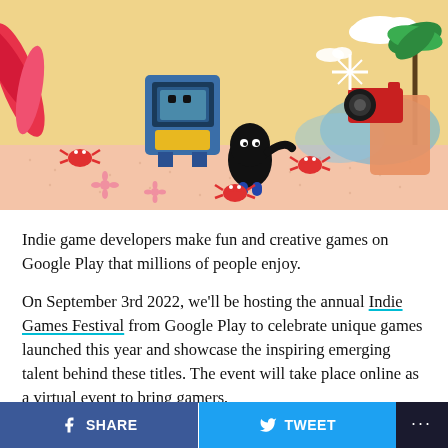[Figure (illustration): Colorful illustrated scene on a sandy beach with a robot arcade machine, a black blob character, red crabs, palm trees, a person photographing, and decorative elements on a warm yellow-tan background.]
Indie game developers make fun and creative games on Google Play that millions of people enjoy.
On September 3rd 2022, we'll be hosting the annual Indie Games Festival from Google Play to celebrate unique games launched this year and showcase the inspiring emerging talent behind these titles. The event will take place online as a virtual event to bring gamers,
SHARE   TWEET   ...